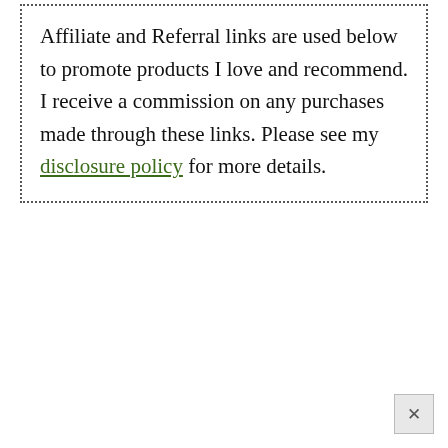Affiliate and Referral links are used below to promote products I love and recommend. I receive a commission on any purchases made through these links. Please see my disclosure policy for more details.